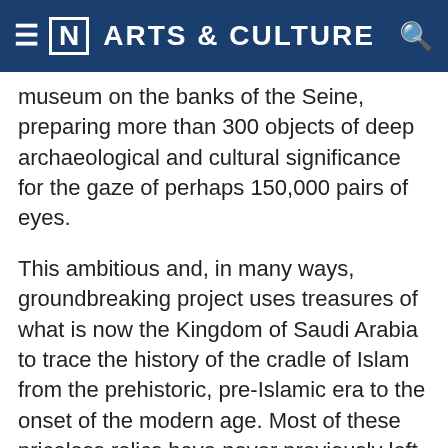[N] ARTS & CULTURE
museum on the banks of the Seine, preparing more than 300 objects of deep archaeological and cultural significance for the gaze of perhaps 150,000 pairs of eyes.
This ambitious and, in many ways, groundbreaking project uses treasures of what is now the Kingdom of Saudi Arabia to trace the history of the cradle of Islam from the prehistoric, pre-Islamic era to the onset of the modern age. Most of these priceless relics have never previously left their place of origin, and many are the product of such recent archeological excavation that their existence has not even been published. How many shades of Arabia, indeed, are reflected in the